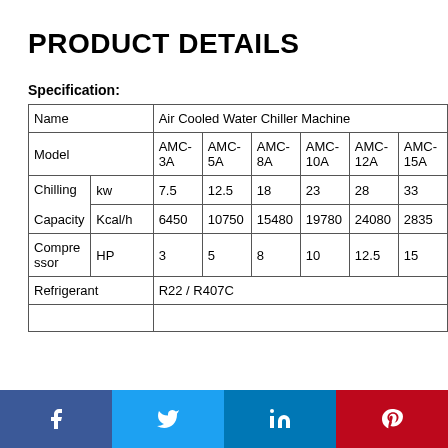PRODUCT DETAILS
Specification:
| Name |  | Air Cooled Water Chiller Machine |  |  |  |  |  |
| --- | --- | --- | --- | --- | --- | --- | --- |
| Model |  | AMC-3A | AMC-5A | AMC-8A | AMC-10A | AMC-12A | AMC-15A |
| Chilling Capacity | kw | 7.5 | 12.5 | 18 | 23 | 28 | 33 |
| Chilling Capacity | Kcal/h | 6450 | 10750 | 15480 | 19780 | 24080 | 2835 |
| Compressor | HP | 3 | 5 | 8 | 10 | 12.5 | 15 |
| Refrigerant |  | R22 / R407C |  |  |  |  |  |